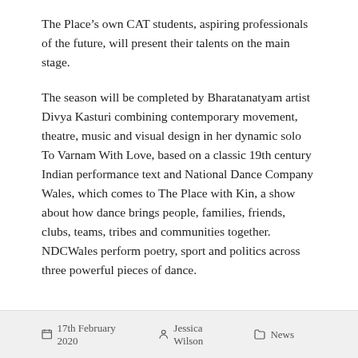The Place's own CAT students, aspiring professionals of the future, will present their talents on the main stage.
The season will be completed by Bharatanatyam artist Divya Kasturi combining contemporary movement, theatre, music and visual design in her dynamic solo To Varnam With Love, based on a classic 19th century Indian performance text and National Dance Company Wales, which comes to The Place with Kin, a show about how dance brings people, families, friends, clubs, teams, tribes and communities together. NDCWales perform poetry, sport and politics across three powerful pieces of dance.
17th February 2020   Jessica Wilson   News